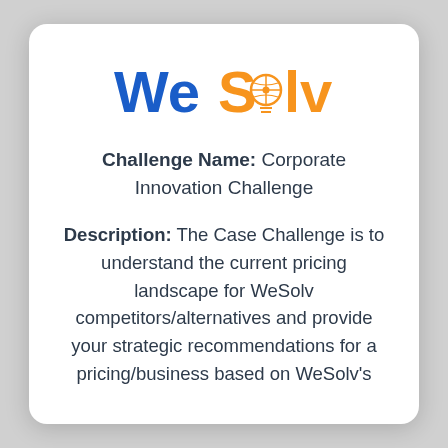[Figure (logo): WeSolv logo with blue 'We' and orange 'Solv' text, with a lightbulb/compass icon replacing the 'o' in Solv]
Challenge Name: Corporate Innovation Challenge
Description: The Case Challenge is to understand the current pricing landscape for WeSolv competitors/alternatives and provide your strategic recommendations for a pricing/business based on WeSolv's